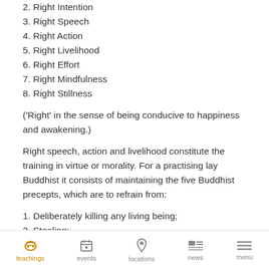2. Right Intention
3. Right Speech
4. Right Action
5. Right Livelihood
6. Right Effort
7. Right Mindfulness
8. Right Stillness
('Right' in the sense of being conducive to happiness and awakening.)
Right speech, action and livelihood constitute the training in virtue or morality. For a practising lay Buddhist it consists of maintaining the five Buddhist precepts, which are to refrain from:
1. Deliberately killing any living being;
2. Stealing;
3. Sexual misconduct, in particular adultery;
4. lying;
teachings  events  locations  news  menu